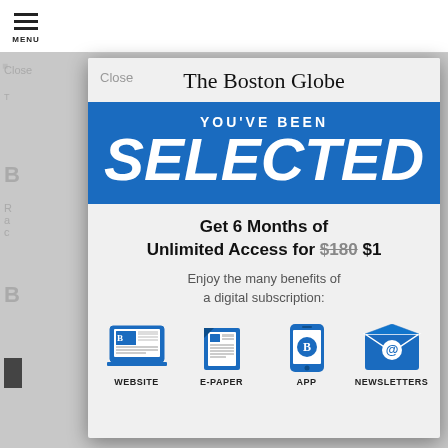[Figure (screenshot): Screenshot of Boston Globe subscription modal overlay on a news website. Modal shows 'YOU'VE BEEN SELECTED' in blue banner, offer for 6 months unlimited access for $1 (crossed out $180), benefits icons for Website, E-Paper, App, and Newsletters.]
The Boston Globe
YOU'VE BEEN
SELECTED
Get 6 Months of Unlimited Access for $180 $1
Enjoy the many benefits of a digital subscription:
WEBSITE
E-PAPER
APP
NEWSLETTERS